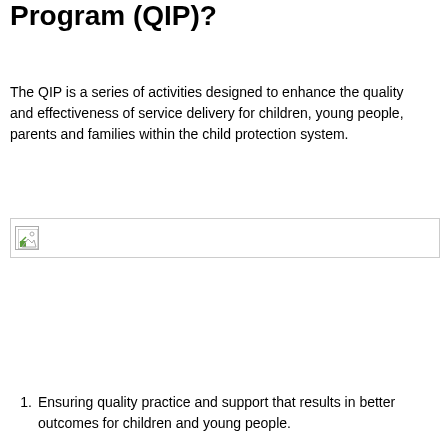Program (QIP)?
The QIP is a series of activities designed to enhance the quality and effectiveness of service delivery for children, young people, parents and families within the child protection system.
[Figure (other): Broken/missing image placeholder with a small icon in the top-left corner showing a partially loaded image icon with a green element.]
Ensuring quality practice and support that results in better outcomes for children and young people.